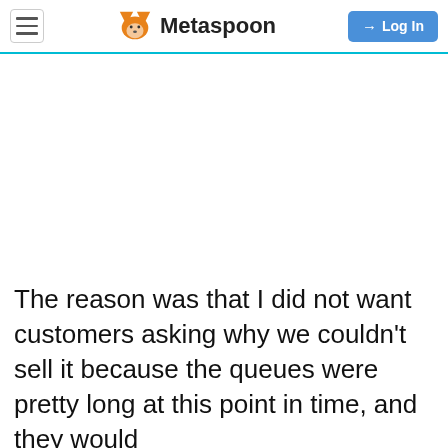Metaspoon | Log In
The reason was that I did not want customers asking why we couldn't sell it because the queues were pretty long at this point in time, and they would